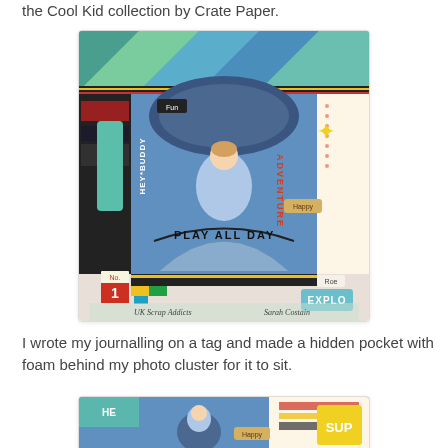the Cool Kid collection by Crate Paper.
[Figure (photo): Scrapbook layout featuring a child on a slide, decorated with colorful embellishments. Text reads 'Hey Buddy', 'Play All Day', 'No. 1', 'Fun', 'Happy', 'Explr'. Signed by 'UK Scrap Addicts' and 'Sarah Costain'.]
I wrote my journalling on a tag and made a hidden pocket with foam behind my photo cluster for it to sit.
[Figure (photo): Close-up detail of the scrapbook layout showing a child on a slide with 'Happy' tag and colorful paper embellishments.]